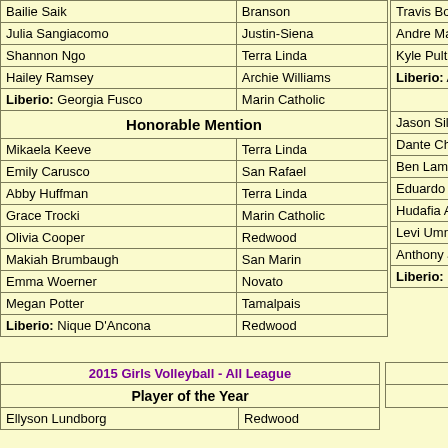| Name | School |
| --- | --- |
| Bailie Saik | Branson |
| Julia Sangiacomo | Justin-Siena |
| Shannon Ngo | Terra Linda |
| Hailey Ramsey | Archie Williams |
| Liberio: Georgia Fusco | Marin Catholic |
| Honorable Mention |  |
| Mikaela Keeve | Terra Linda |
| Emily Carusco | San Rafael |
| Abby Huffman | Terra Linda |
| Grace Trocki | Marin Catholic |
| Olivia Cooper | Redwood |
| Makiah Brumbaugh | San Marin |
| Emma Woerner | Novato |
| Megan Potter | Tamalpais |
| Liberio: Nique D'Ancona | Redwood |
| Name |
| --- |
| Travis Bonini |
| Andre Matheus |
| Kyle Pult |
| Liberio: Andrew Ong |
| Honorable Mention |
| Jason Silberman |
| Dante Chisholm |
| Ben Lampl |
| Eduardo Rodriguez |
| Hudafia Azan |
| Levi Ummel |
| Anthony Judkins |
| Liberio: Darius Saadatnezhadi |
| 2015 Girls Volleyball - All League |
| --- |
| Player of the Year |
| Ellyson Lundborg | Redwood |
| 2016 Boys Vo... |
| --- |
| Player... |